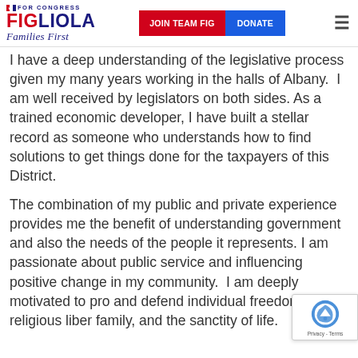FIGLIOLA FOR CONGRESS Families First | JOIN TEAM FIG | DONATE
I have a deep understanding of the legislative process given my many years working in the halls of Albany.  I am well received by legislators on both sides. As a trained economic developer, I have built a stellar record as someone who understands how to find solutions to get things done for the taxpayers of this District.
The combination of my public and private experience provides me the benefit of understanding government and also the needs of the people it represents. I am passionate about public service and influencing positive change in my community.  I am deeply motivated to pro and defend individual freedom, religious liber family, and the sanctity of life.